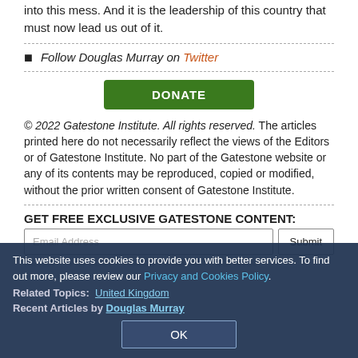into this mess. And it is the leadership of this country that must now lead us out of it.
Follow Douglas Murray on Twitter
DONATE
© 2022 Gatestone Institute. All rights reserved. The articles printed here do not necessarily reflect the views of the Editors or of Gatestone Institute. No part of the Gatestone website or any of its contents may be reproduced, copied or modified, without the prior written consent of Gatestone Institute.
GET FREE EXCLUSIVE GATESTONE CONTENT:
Email Address  Submit
This website uses cookies to provide you with better services. To find out more, please review our Privacy and Cookies Policy.
Related Topics:  United Kingdom
Recent Articles by Douglas Murray
OK